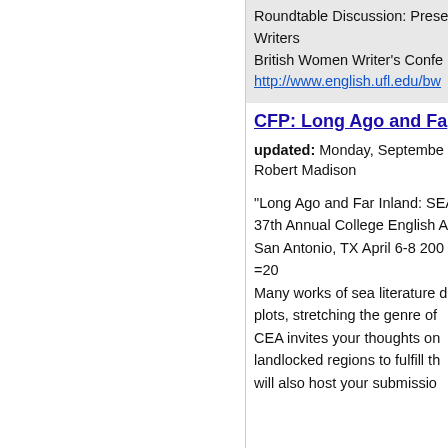Roundtable Discussion: Prese
Writers
British Women Writer's Confe
http://www.english.ufl.edu/bw
CFP: Long Ago and Fa
updated: Monday, Septembe
Robert Madison
"Long Ago and Far Inland: SEA 37th Annual College English A San Antonio, TX April 6-8 200 =20 Many works of sea literature d plots, stretching the genre of CEA invites your thoughts on landlocked regions to fulfill th will also host your submissio